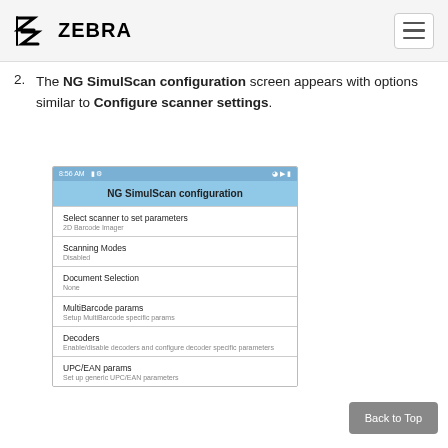ZEBRA
The NG SimulScan configuration screen appears with options similar to Configure scanner settings.
[Figure (screenshot): Mobile device screenshot showing NG SimulScan configuration screen with status bar at top, title bar reading 'NG SimulScan configuration', and list of menu items: 'Select scanner to set parameters / 2D Barcode Imager', 'Scanning Modes / Disabled', 'Document Selection / None', 'MultiBarcode params / Setup MultiBarcode specific params', 'Decoders / Enable/disable decoders and configure decoder specific parameters', 'UPC/EAN params / Set up generic UPC/EAN parameters']
Back to Top